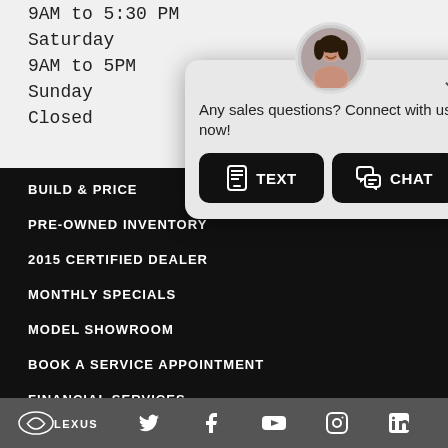9AM to 5:30 PM
Saturday
9AM to 5PM
Sunday
Closed
[Figure (infographic): Chat popup widget with avatar photo, text 'Any sales questions? Connect with us now!', and two buttons: TEXT and CHAT]
BUILD & PRICE
PRE-OWNED INVENTORY
2015 CERTIFIED DEALER
MONTHLY SPECIALS
MODEL SHOWROOM
BOOK A SERVICE APPOINTMENT
FINANCIAL SERVICES
FALL SERVICE SPECIALS
[Figure (logo): Lexus logo and social media icons: Twitter, Facebook, YouTube, Instagram, LinkedIn]